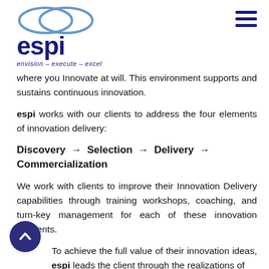[Figure (logo): ESPI logo with two overlapping ovals/rings and bold text 'espi' with tagline 'envision – execute – excel']
where you Innovate at will. This environment supports and sustains continuous innovation.
espi works with our clients to address the four elements of innovation delivery:
Discovery → Selection → Delivery → Commercialization
We work with clients to improve their Innovation Delivery capabilities through training workshops, coaching, and turn-key management for each of these innovation elements.
To achieve the full value of their innovation ideas, espi leads the client through the realizations of